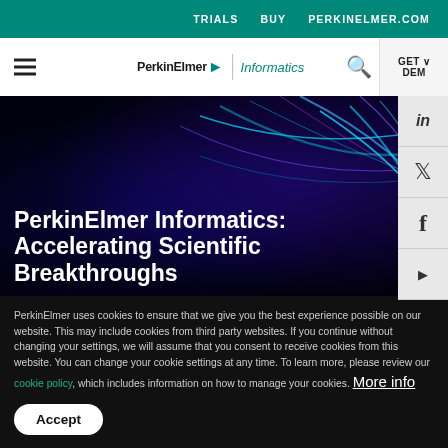TRIALS   BUY   PERKINELMER.COM
[Figure (logo): PerkinElmer Informatics logo with hamburger menu and search icon]
[Figure (screenshot): Social media sidebar with LinkedIn, Twitter, Facebook, YouTube icons]
[Figure (photo): Hero banner with dark blue/purple neon light streaks background]
PerkinElmer Informatics: Accelerating Scientific Breakthroughs
PerkinElmer uses cookies to ensure that we give you the best experience possible on our website. This may include cookies from third party websites. If you continue without changing your settings, we will assume that you consent to receive cookies from this website. You can change your cookie settings at any time. To learn more, please review our cookie policy, which includes information on how to manage your cookies. More info
Accept